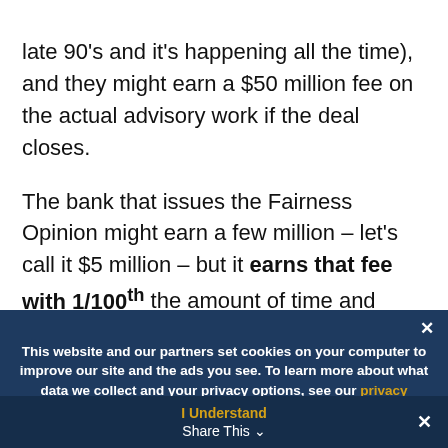late 90's and it's happening all the time), and they might earn a $50 million fee on the actual advisory work if the deal closes.
The bank that issues the Fairness Opinion might earn a few million – let's call it $5 million – but it earns that fee with 1/100th the amount of time and effort that the financial advisor put in.
This website and our partners set cookies on your computer to improve our site and the ads you see. To learn more about what data we collect and your privacy options, see our privacy policy.